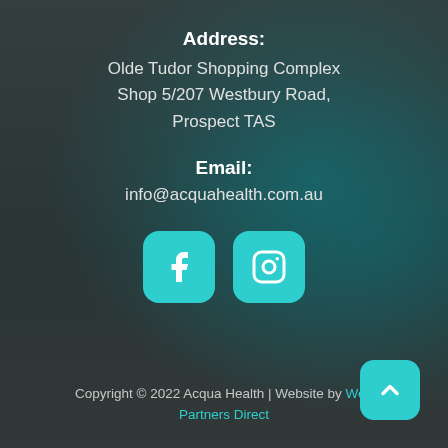Address:
Olde Tudor Shopping Complex
Shop 5/207 Westbury Road,
Prospect TAS
Email:
info@acquahealth.com.au
[Figure (other): Teal Facebook icon button and teal Instagram icon button]
Copyright © 2022 Acqua Health | Website by Web Partners Direct